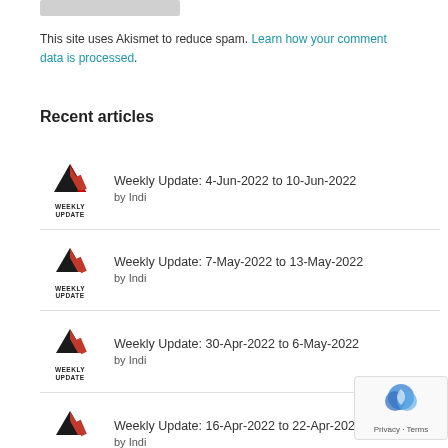This site uses Akismet to reduce spam. Learn how your comment data is processed.
Recent articles
Weekly Update: 4-Jun-2022 to 10-Jun-2022 by Indi
Weekly Update: 7-May-2022 to 13-May-2022 by Indi
Weekly Update: 30-Apr-2022 to 6-May-2022 by Indi
Weekly Update: 16-Apr-2022 to 22-Apr-2022 by Indi
Weekly Update: 9-Apr-2022 to 15-Apr-2022 by Indi